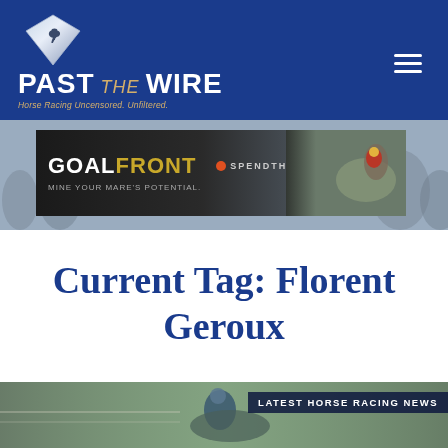[Figure (logo): Past the Wire logo with diamond shape containing running horse, text 'PAST THE WIRE' and tagline 'Horse Racing Uncensored. Unfiltered.']
[Figure (illustration): Coalfront advertisement banner by Spendthrift Farm - 'Mine Your Mare's Potential' with horse racing image on right]
Current Tag: Florent Geroux
[Figure (photo): Jockey on horseback at race track, overlaid with 'LATEST HORSE RACING NEWS' label]